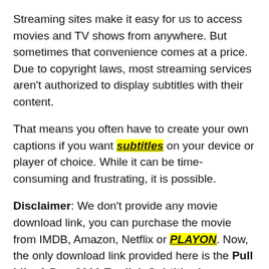Streaming sites make it easy for us to access movies and TV shows from anywhere. But sometimes that convenience comes at a price. Due to copyright laws, most streaming services aren't authorized to display subtitles with their content.
That means you often have to create your own captions if you want subtitles on your device or player of choice. While it can be time-consuming and frustrating, it is possible.
Disclaimer: We don't provide any movie download link, you can purchase the movie from IMDB, Amazon, Netflix or PLAYON. Now, the only download link provided here is the Pull Like A Dog 2016 English Subtitle. Any copyright infringement-related information should be forwarded to our admin mail and they will be stripped off immediately.
And there are some great subtitle apps that will help you do just that! Some of these apps let you